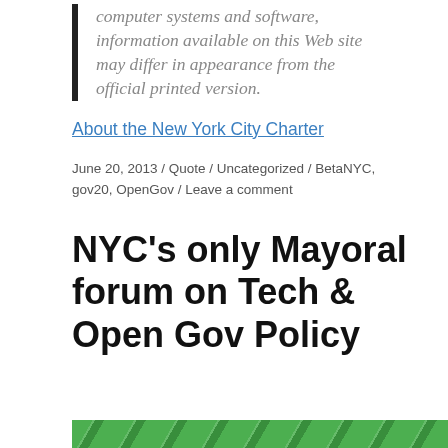computer systems and software, information available on this Web site may differ in appearance from the official printed version.
About the New York City Charter
June 20, 2013 / Quote / Uncategorized / BetaNYC, gov20, OpenGov / Leave a comment
NYC's only Mayoral forum on Tech & Open Gov Policy
[Figure (illustration): Green decorative bar with diagonal stripe pattern at bottom of page]